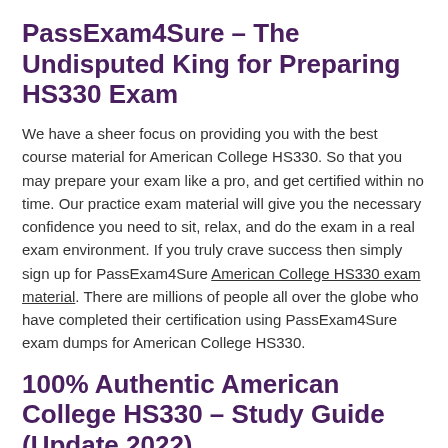PassExam4Sure – The Undisputed King for Preparing HS330 Exam
We have a sheer focus on providing you with the best course material for American College HS330. So that you may prepare your exam like a pro, and get certified within no time. Our practice exam material will give you the necessary confidence you need to sit, relax, and do the exam in a real exam environment. If you truly crave success then simply sign up for PassExam4Sure American College HS330 exam material. There are millions of people all over the globe who have completed their certification using PassExam4Sure exam dumps for American College HS330.
100% Authentic American College HS330 – Study Guide (Update 2022)
Our American College HS330 exam questions and answers are reviewed by us on weekly basis. Our team of highly qualified American College professionals, who once also cleared the exams